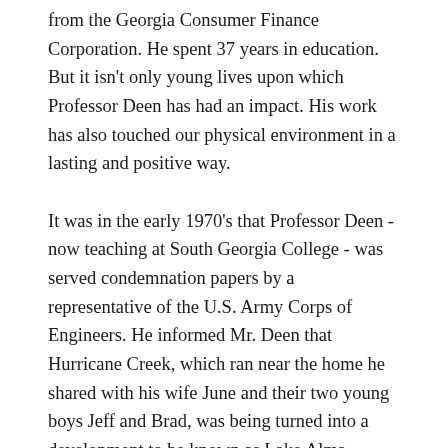from the Georgia Consumer Finance Corporation. He spent 37 years in education. But it isn't only young lives upon which Professor Deen has had an impact. His work has also touched our physical environment in a lasting and positive way. It was in the early 1970's that Professor Deen - now teaching at South Georgia College - was served condemnation papers by a representative of the U.S. Army Corps of Engineers. He informed Mr. Deen that Hurricane Creek, which ran near the home he shared with his wife June and their two young boys Jeff and Brad, was being turned into a development to be known as Lake Alma. Exercising the right of eminent domain, the government was paying as little as $35 to $40 per acre for his family's land. After seeking guidance from future Nobel Laureate Dr. Eugene Odum, with whom Mr. Deen had taught for a year at UGA, he fought the project. They determined that Hurricane Creek drains 228 square miles and as a tertiary